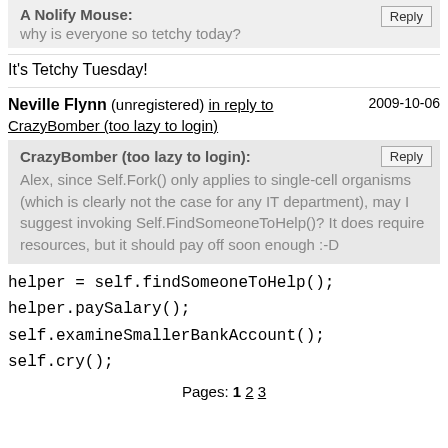A Nolify Mouse: why is everyone so tetchy today?
It's Tetchy Tuesday!
Neville Flynn (unregistered) in reply to CrazyBomber (too lazy to login) 2009-10-06
CrazyBomber (too lazy to login): Alex, since Self.Fork() only applies to single-cell organisms (which is clearly not the case for any IT department), may I suggest invoking Self.FindSomeoneToHelp()? It does require resources, but it should pay off soon enough :-D
helper = self.findSomeoneToHelp();
helper.paySalary();
self.examineSmallerBankAccount();
self.cry();
Pages: 1 2 3